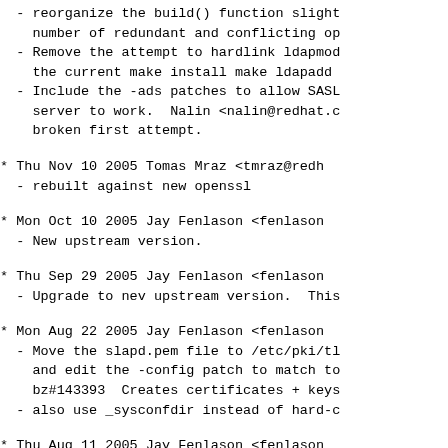- reorganize the build() function slight
    number of redundant and conflicting op
- Remove the attempt to hardlink ldapmo
    the current make install make ldapadd
- Include the -ads patches to allow SAS
    server to work.  Nalin <nalin@redhat.c
    broken first attempt.
* Thu Nov 10 2005 Tomas Mraz <tmraz@redh
- rebuilt against new openssl
* Mon Oct 10 2005 Jay Fenlason <fenlason
- New upstream version.
* Thu Sep 29 2005 Jay Fenlason <fenlason
- Upgrade to nev upstream version.  This
* Mon Aug 22 2005 Jay Fenlason <fenlason
- Move the slapd.pem file to /etc/pki/tl
    and edit the -config patch to match to
    bz#143393  Creates certificates + keys
- also use _sysconfdir instead of hard-c
* Thu Aug 11 2005 Jay Fenlason <fenlason